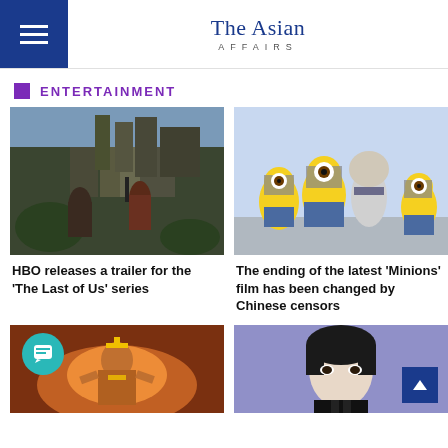The Asian Affairs
ENTERTAINMENT
[Figure (photo): Two characters from The Last of Us video game/TV series standing in a ruined city with overgrown buildings]
HBO releases a trailer for the 'The Last of Us' series
[Figure (photo): Animated Minions characters with young Gru from the Minions movie]
The ending of the latest 'Minions' film has been changed by Chinese censors
[Figure (photo): Actress in Wonder Woman-style costume with fire effects in background]
[Figure (photo): Young Korean male actor in black suit against purple background]